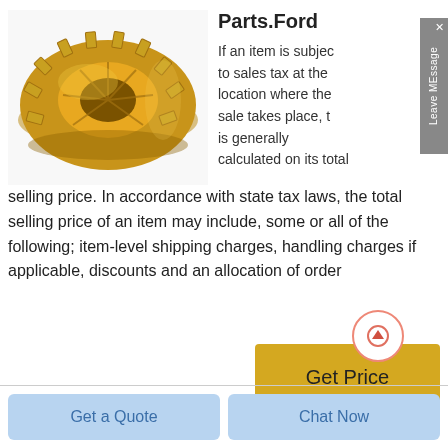[Figure (photo): A gold/brass colored industrial gear or sprocket component, circular with teeth around the edge, viewed from a slight angle.]
Parts.Ford
If an item is subject to sales tax at the location where the sale takes place, it is generally calculated on its total selling price. In accordance with state tax laws, the total selling price of an item may include, some or all of the following; item-level shipping charges, handling charges if applicable, discounts and an allocation of order
[Figure (other): Get Price button with upward arrow circle above it, gold/yellow background]
Get a Quote
Chat Now